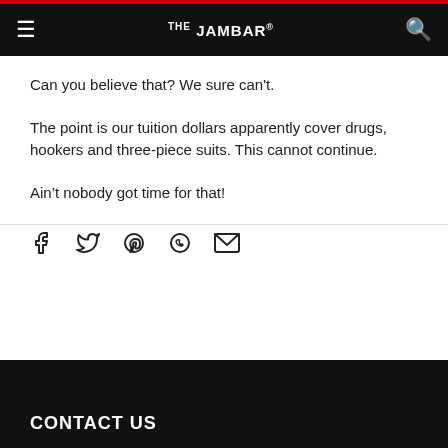THE JAMBAR
Can you believe that? We sure can't.
The point is our tuition dollars apparently cover drugs, hookers and three-piece suits. This cannot continue.
Ain’t nobody got time for that!
[Figure (infographic): Social sharing icons: Facebook, Twitter, Pinterest, WhatsApp, Email]
CONTACT US